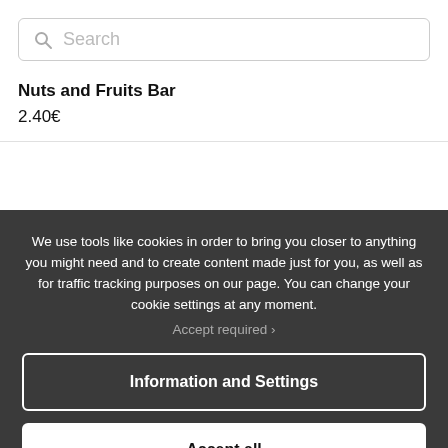Search
Nuts and Fruits Bar
2.40€
We use tools like cookies in order to bring you closer to anything you might need and to create content made just for you, as well as for traffic tracking purposes on our page. You can change your cookie settings at any moment.
Accept required ›
Information and Settings
Accept all